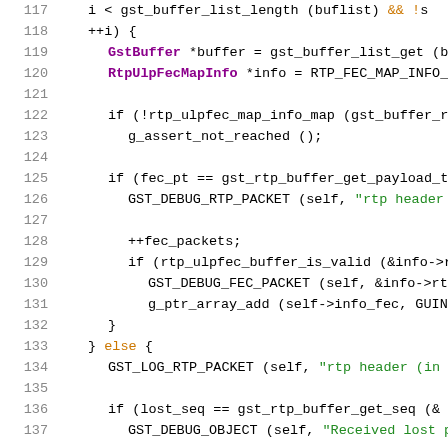[Figure (screenshot): Source code snippet showing C code lines 117-137 with syntax highlighting. Line numbers in gray on left, code in black/purple/green colors on right. Shows GStreamer RTP FEC buffer processing logic.]